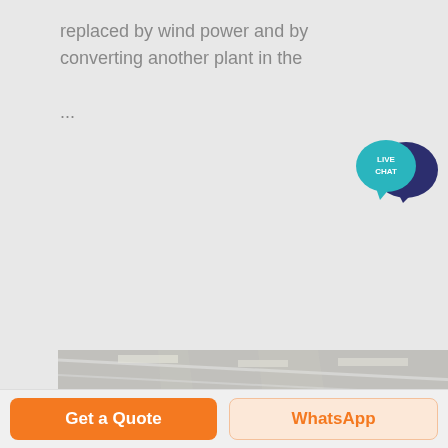replaced by wind power and by converting another plant in the ...
[Figure (logo): Live Chat speech bubble badge icon in teal and dark blue]
[Figure (photo): Interior of an industrial plant or factory with conveyor belts, machinery, and large structural supports in a grey/dusty environment]
Get a Quote
WhatsApp